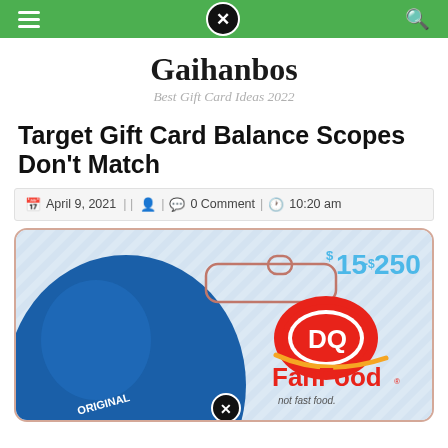Gaihanbos navigation bar
Gaihanbos
Best Gift Card Ideas 2022
Target Gift Card Balance Scopes Don't Match
April 9, 2021 || [user icon] | [comment icon] 0 Comment | [clock icon] 10:20 am
[Figure (photo): Dairy Queen DQ Fan Food gift card showing $15-$250 denomination, with blue balloon background and DQ logo]